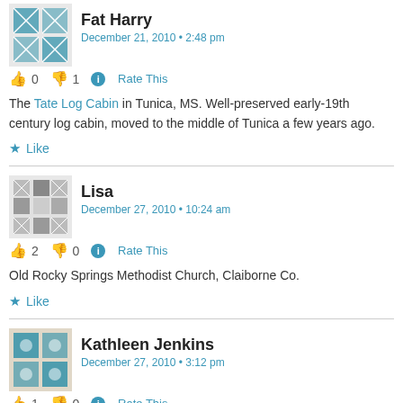Fat Harry
December 21, 2010 • 2:48 pm
👍 0 👎 1 ℹ Rate This
The Tate Log Cabin in Tunica, MS. Well-preserved early-19th century log cabin, moved to the middle of Tunica a few years ago.
★ Like
Lisa
December 27, 2010 • 10:24 am
👍 2 👎 0 ℹ Rate This
Old Rocky Springs Methodist Church, Claiborne Co.
★ Like
Kathleen Jenkins
December 27, 2010 • 3:12 pm
👍 1 👎 0 ℹ Rate This